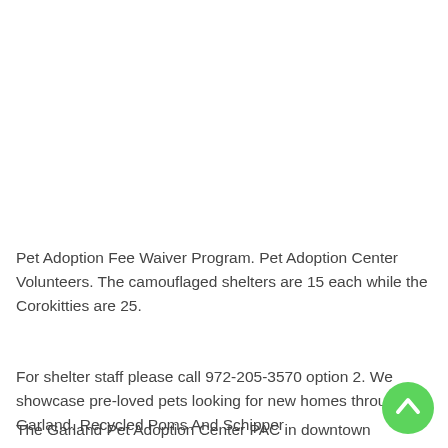Pet Adoption Fee Waiver Program. Pet Adoption Center Volunteers. The camouflaged shelters are 15 each while the Corokitties are 25.
For shelter staff please call 972-205-3570 option 2. We showcase pre-loved pets looking for new homes throughout Garland. Recycled Poms And Schipper
The Garland Pet Adoption Center PAC in downtown